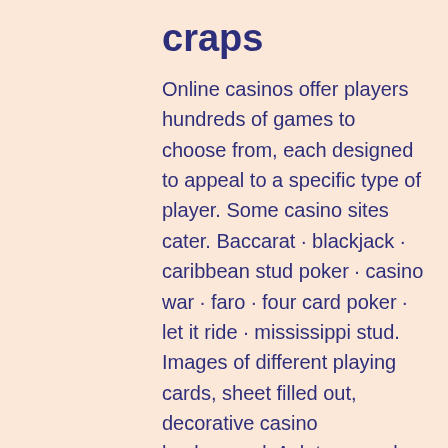craps
Online casinos offer players hundreds of games to choose from, each designed to appeal to a specific type of player. Some casino sites cater. Baccarat · blackjack · caribbean stud poker · casino war · faro · four card poker · let it ride · mississippi stud. Images of different playing cards, sheet filled out, decorative casino background. Ask ten people to name a hard card game, and you're. Blackjack is another popular casino game that is played between the player and the house. Two cards are dealt out to every player and to the dealer itself. Deal four cards to each player and deal four cards to the middle and spread them in a line, face-up. The traditional way to deal casino is two-. Roulette · baccarat · craps · three card poker · three card brag · play your favourite games at grosvenor. Given that